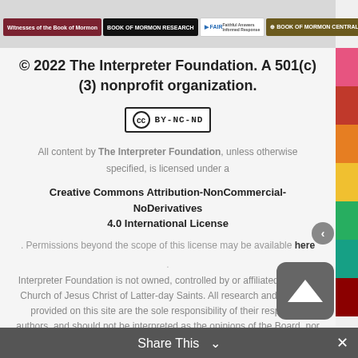[Figure (screenshot): Navigation bar with logo links: Witnesses of the Book of Mormon, Book of Mormon Research, FAIR, Book of Mormon Central, LDS Perspectives Podcast]
© 2022 The Interpreter Foundation. A 501(c)(3) nonprofit organization.
[Figure (logo): Creative Commons BY-NC-ND license badge]
All content by The Interpreter Foundation, unless otherwise specified, is licensed under a
Creative Commons Attribution-NonCommercial-NoDerivatives 4.0 International License
. Permissions beyond the scope of this license may be available here
Interpreter Foundation is not owned, controlled by or affiliated with The Church of Jesus Christ of Latter-day Saints. All research and opinions provided on this site are the sole responsibility of their respective authors, and should not be interpreted as the opinions of the Board, nor as official statements of Latter-day Saint doctrine, belief or practice.
Share This ∨  ✕